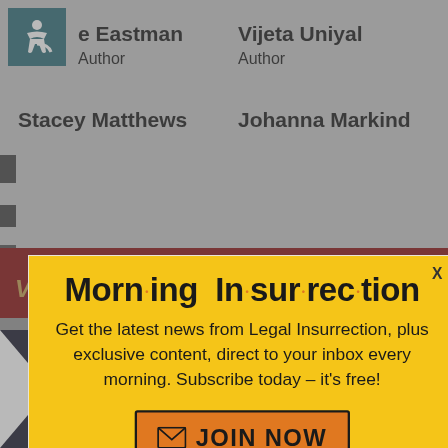e Eastman — Author
Vijeta Uniyal — Author
Stacey Matthews
Johanna Markind
[Figure (screenshot): Morning Insurrection popup overlay with yellow background, title 'Morn·ing In·sur·rec·tion', subscription prompt and JOIN NOW button]
VIDEO OF THE DAY
[Figure (infographic): The Perspective advertisement bar at bottom: 'SEE WHAT YOU'RE MISSING' with READ MORE button]